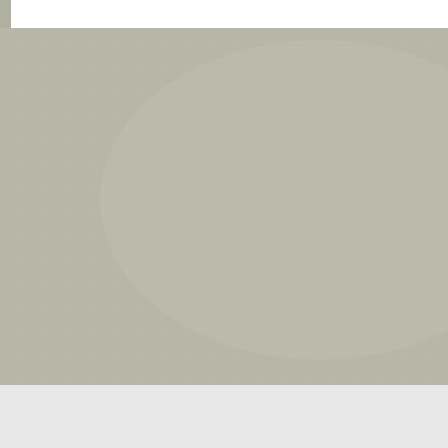[Figure (photo): Large fabric texture image with a gray-beige linen/canvas textile pattern filling the upper portion of the page. A small white bar is visible at the top right overlapping the image.]
lookfab.com was inspired by of the youlookfab forum, who belief that style is beyond sh